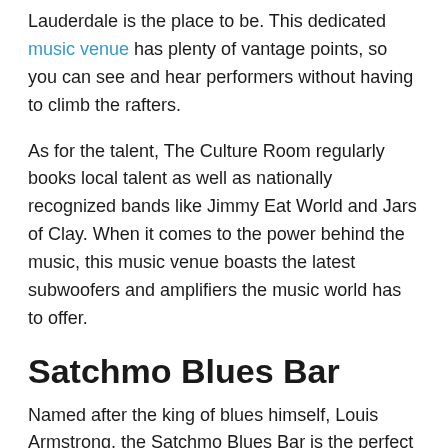Lauderdale is the place to be. This dedicated music venue has plenty of vantage points, so you can see and hear performers without having to climb the rafters.
As for the talent, The Culture Room regularly books local talent as well as nationally recognized bands like Jimmy Eat World and Jars of Clay. When it comes to the power behind the music, this music venue boasts the latest subwoofers and amplifiers the music world has to offer.
Satchmo Blues Bar
Named after the king of blues himself, Louis Armstrong, the Satchmo Blues Bar is the perfect place to hear the best blues and jazz music in Fort Lauderdale. Featuring local and touring bands, Satchmo is dedicated to live blues and jazz music.
A bar at heart, this music venue also has an eclectic